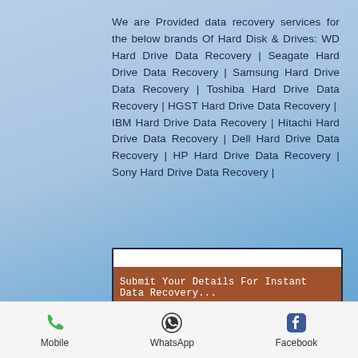We are Provided data recovery services for the below brands Of Hard Disk & Drives: WD Hard Drive Data Recovery | Seagate Hard Drive Data Recovery | Samsung Hard Drive Data Recovery | Toshiba Hard Drive Data Recovery | HGST Hard Drive Data Recovery | IBM Hard Drive Data Recovery | Hitachi Hard Drive Data Recovery | Dell Hard Drive Data Recovery | HP Hard Drive Data Recovery | Sony Hard Drive Data Recovery |
Submit Your Details For Instant Data Recovery...
Shipping and Handling Details >
Mobile
WhatsApp
Facebook